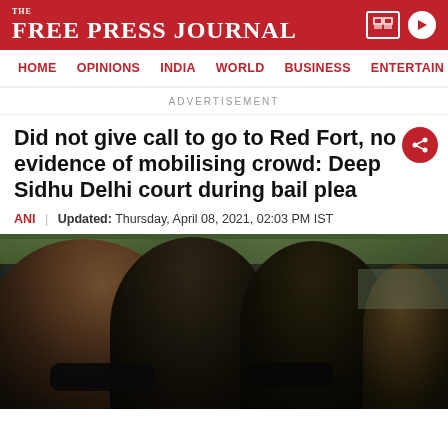THE FREE PRESS JOURNAL
HOME | OPINIONS | INDIA | WORLD | BUSINESS | ENTERTAIN
ADVERTISEMENT
Did not give call to go to Red Fort, no evidence of mobilising crowd: Deep Sidhu Delhi court during bail plea
ANI | Updated: Thursday, April 08, 2021, 02:03 PM IST
[Figure (photo): Crowd of men, some wearing black face masks, gathered outdoors with trees in the background]